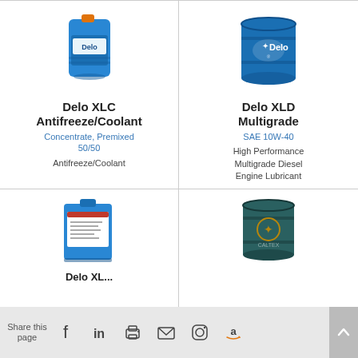[Figure (illustration): Delo XLC Antifreeze/Coolant blue jug container]
Delo XLC Antifreeze/Coolant
Concentrate, Premixed 50/50
Antifreeze/Coolant
[Figure (illustration): Delo XLD Multigrade blue drum barrel]
Delo XLD Multigrade
SAE 10W-40
High Performance Multigrade Diesel Engine Lubricant
[Figure (illustration): Delo product blue square container with label]
Delo XL...
[Figure (illustration): Caltex branded dark blue drum barrel]
Share this page  [Facebook] [LinkedIn] [Print] [Email] [Instagram] [Amazon]